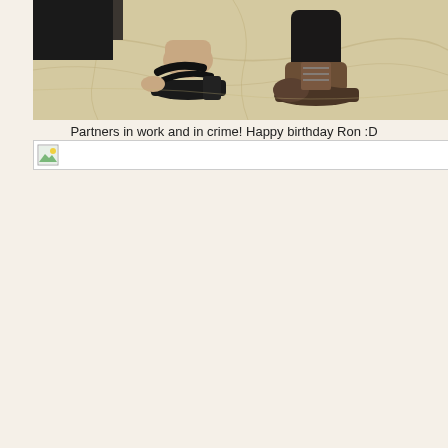[Figure (photo): Close-up photo of two pairs of feet/shoes on a marble floor. Left foot wears a black open-toe mule sandal. Right foot wears a brown boot-style shoe with black socks.]
Partners in work and in crime! Happy birthday Ron :D
[Figure (photo): Broken/missing image placeholder icon]